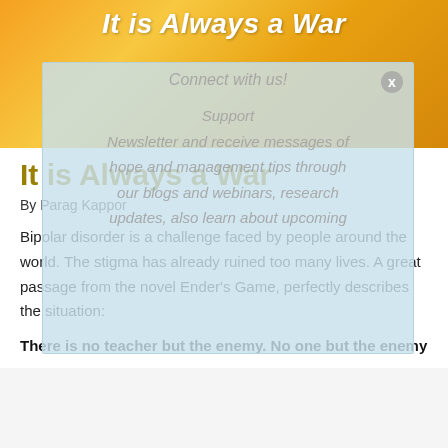It is Always a War
[Figure (other): Orange and yellow gradient banner background with a partially visible lightbox/modal overlay showing 'Connect with us!' and newsletter subscription text]
It is Always a War
By Parag Kappor
Bipolar disorder is a challenge faced by people around the world. The stigma has already ruined too many lives. A great passage from the novel Ender's Game, perfectly describes the situation:
There is no teacher but the enemy. No one but the enemy